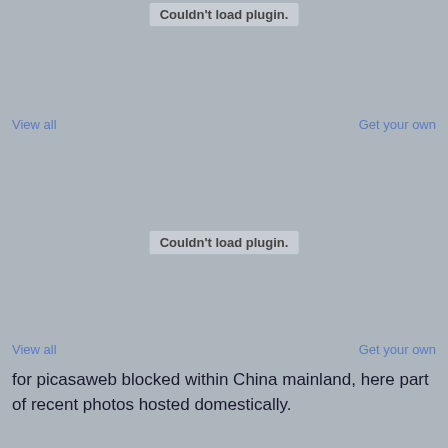[Figure (other): Plugin placeholder showing 'Couldn't load plugin.' message on grey background, top area]
View all
Get your own
[Figure (other): Plugin placeholder showing 'Couldn't load plugin.' message on grey background, middle area]
View all
Get your own
for picasaweb blocked within China mainland, here part of recent photos hosted domestically.